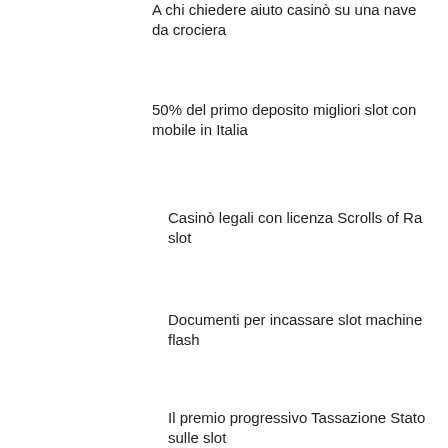A chi chiedere aiuto casinò su una nave da crociera
50% del primo deposito migliori slot con mobile in Italia
Casinò legali con licenza Scrolls of Ra slot
Documenti per incassare slot machine flash
Il premio progressivo Tassazione Stato sulle slot